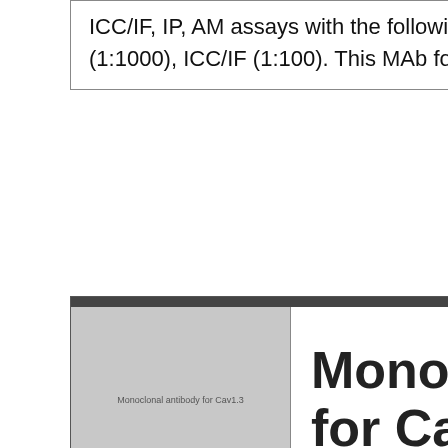ICC/IF, IP, AM assays with the following recommended dilutions: WB (1:1000), IHC (1:1000), ICC/IF (1:100). This MAb for Cav1.3 is conjugated with Dylight 405.
[Figure (photo): Thumbnail image placeholder for Monoclonal antibody for Cav1.3 product]
Monoclonal antibody for Cav1.3
| SKU | Vendor | Qty | Price |
| --- | --- | --- | --- |
| SMC-301D-DY488 | Stressmarq | 0.1mg | EUR 392 |